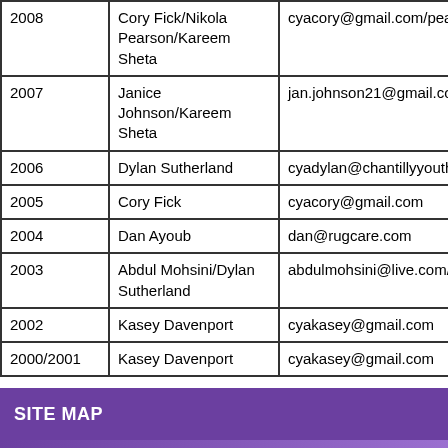| Year | Name | Email |
| --- | --- | --- |
| 2008 | Cory Fick/Nikola Pearson/Kareem Sheta | cyacory@gmail.com/pearsonik |
| 2007 | Janice Johnson/Kareem Sheta | jan.johnson21@gmail.com/kare |
| 2006 | Dylan Sutherland | cyadylan@chantillyyouth.org |
| 2005 | Cory Fick | cyacory@gmail.com |
| 2004 | Dan Ayoub | dan@rugcare.com |
| 2003 | Abdul Mohsini/Dylan Sutherland | abdulmohsini@live.com/cyady |
| 2002 | Kasey Davenport | cyakasey@gmail.com |
| 2000/2001 | Kasey Davenport | cyakasey@gmail.com |
SITE MAP